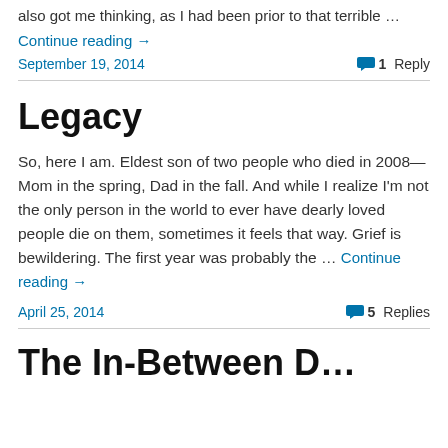also got me thinking, as I had been prior to that terrible …
Continue reading →
September 19, 2014
1 Reply
Legacy
So, here I am. Eldest son of two people who died in 2008—Mom in the spring, Dad in the fall. And while I realize I'm not the only person in the world to ever have dearly loved people die on them, sometimes it feels that way. Grief is bewildering. The first year was probably the … Continue reading →
April 25, 2014
5 Replies
The In-Between D…